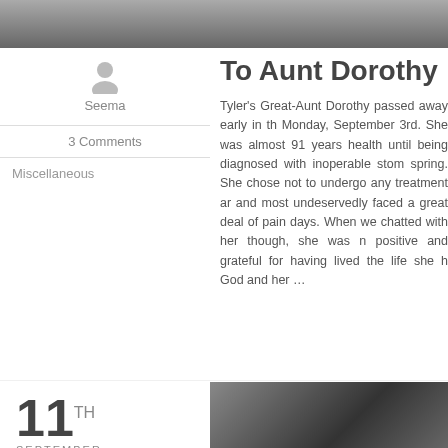[Figure (photo): Black and white photo strip at the top of the page showing people]
Seema
3 Comments
Miscellaneous
To Aunt Dorothy
Tyler's Great-Aunt Dorothy passed away early in th Monday, September 3rd. She was almost 91 years health until being diagnosed with inoperable stom spring. She chose not to undergo any treatment ar and most undeservedly faced a great deal of pain days. When we chatted with her though, she was n positive and grateful for having lived the life she h God and her …
11TH
SEPTEMBER
[Figure (photo): Black and white photo of a person paragliding, wearing a helmet and goggles, mouth open in excitement]